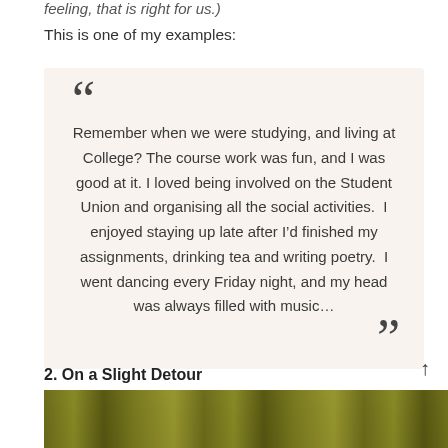feeling, that is right for us.)
This is one of my examples:
Remember when we were studying, and living at College? The course work was fun, and I was good at it. I loved being involved on the Student Union and organising all the social activities.  I enjoyed staying up late after I’d finished my assignments, drinking tea and writing poetry.  I went dancing every Friday night, and my head was always filled with music…
2. On a Slight Detour
[Figure (photo): A blurred outdoor photo showing golden-green foliage or grass in warm tones, appearing at the bottom of the page]